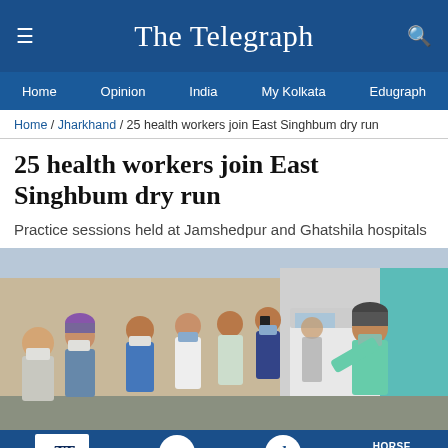The Telegraph
Home | Opinion | India | My Kolkata | Edugraph
Home / Jharkhand / 25 health workers join East Singhbum dry run
25 health workers join East Singhbum dry run
Practice sessions held at Jamshedpur and Ghatshila hospitals
[Figure (photo): Health workers wearing masks gathered near a vehicle, appearing to conduct a COVID vaccination dry run session. One person on the right is leaning into a white vehicle. There is a teal curtain visible on the right side.]
TT | my | edu | HORSE RACING